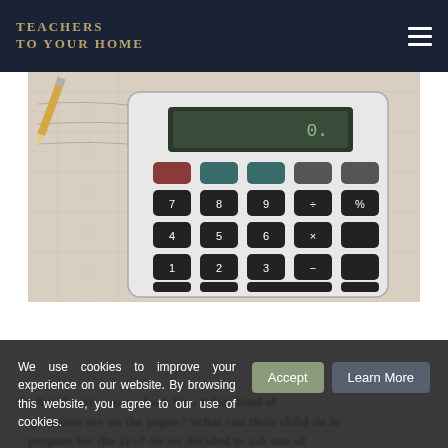TEACHERS TO YOUR HOME
[Figure (photo): Close-up photo of a scientific calculator resting on graph paper with handwritten notes, showing number keys and function buttons.]
Want to know more about the 11+ Maths Exam?
Many parents ask us for more guidance on what the 11+ exams look like. What kind of questions are on the paper? What can their child do to prepare for the 11+? So we decided to ask one of our 11+ teachers to host a webinar to answer
We use cookies to improve your experience on our website. By browsing this website, you agree to our use of cookies.